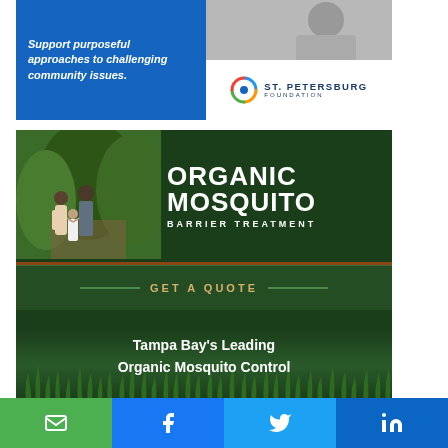[Figure (infographic): St. Petersburg Foundation advertisement with blue panel reading 'Support purposeful approaches to challenging community issues.' and a logo with circular globe icon and 'ST. PETERSBURG FOUNDATION' text]
[Figure (infographic): Organic Mosquito Barrier Treatment advertisement with dark green background, family photo, large text 'ORGANIC MOSQUITO BARRIER TREATMENT', 'GET A QUOTE' button, and 'Tampa Bay's Leading Organic Mosquito Control' tagline with grass silhouette at bottom]
[Figure (infographic): Share buttons row: green email button, blue Facebook button, blue Twitter button, blue LinkedIn button]